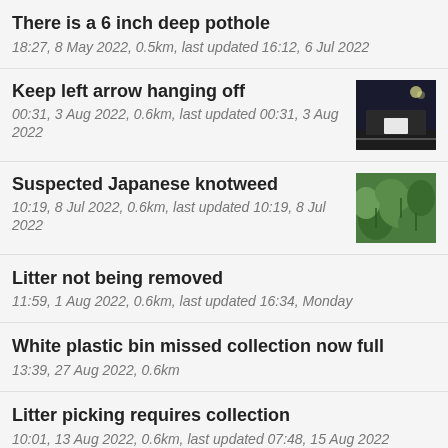There is a 6 inch deep pothole
18:27, 8 May 2022, 0.5km, last updated 16:12, 6 Jul 2022
Keep left arrow hanging off
00:31, 3 Aug 2022, 0.6km, last updated 00:31, 3 Aug 2022
[Figure (photo): Night-time photo of a road sign or road marking, dark background with a white reflective element visible]
Suspected Japanese knotweed
10:19, 8 Jul 2022, 0.6km, last updated 10:19, 8 Jul 2022
[Figure (photo): Close-up photo of green leafy plants, likely Japanese knotweed]
Litter not being removed
11:59, 1 Aug 2022, 0.6km, last updated 16:34, Monday
White plastic bin missed collection now full
13:39, 27 Aug 2022, 0.6km
Litter picking requires collection
10:01, 13 Aug 2022, 0.6km, last updated 07:48, 15 Aug 2022